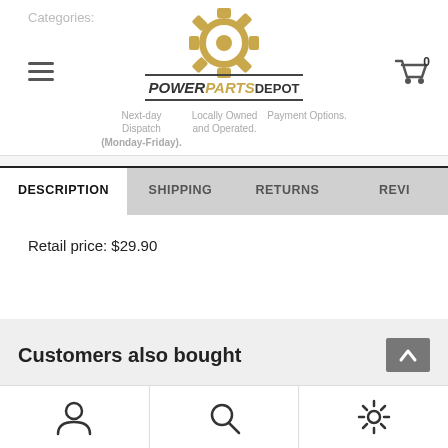Categories:
[Figure (logo): PowerPartsDepot logo with a gold gear icon above the text POWERPARTSDEPOT]
Next-day Dispatch (Monday-Friday). Locally Owned and Operated. Payment Options.
DESCRIPTION
SHIPPING
RETURNS
REVI
Retail price: $29.90
Customers also bought
User / Search / Settings icons